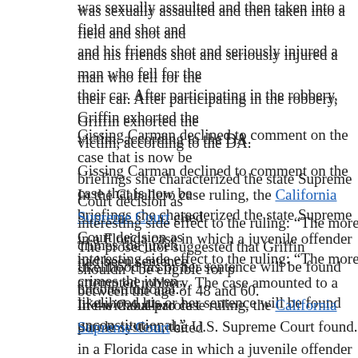was sexually assaulted and then taken into a field and shot and his friends shot and seriously injured a man who fell for their car. After participating in the robbery, Griffin exhorted the victim, according to the DA.
Gissing Carman declined to comment on the case that is now be briefings she characterized the state Supreme Court decision as interesting side effect to the ruling: “The more crimes the juven likelihood his or her sentence will be found unconstitutional.”
The prosecutor suggested that Griffin shouldn’t be eligible for p between the age of 48 and 60.
In the Caballero case ruling, the California Supreme Court cited in a Florida case in which a juvenile offender had been sentence attempted robbery. The case amounted to a life-without-parole t parole system, the U.S. Supreme Court found.
On a 6-3 vote, the U.S. justices found that juvenile non-homicid